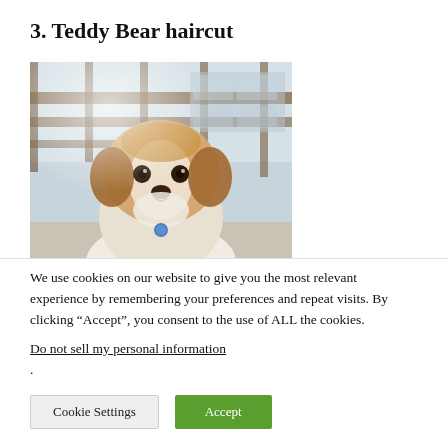3. Teddy Bear haircut
[Figure (photo): A small fluffy Shih Tzu dog with a teddy bear haircut, looking directly at the camera. The dog has golden-brown and white fur, a flat face, and is wearing a blue tag. Background shows wooden railing and hazy outdoor scene.]
We use cookies on our website to give you the most relevant experience by remembering your preferences and repeat visits. By clicking “Accept”, you consent to the use of ALL the cookies.
Do not sell my personal information.
Cookie Settings  Accept